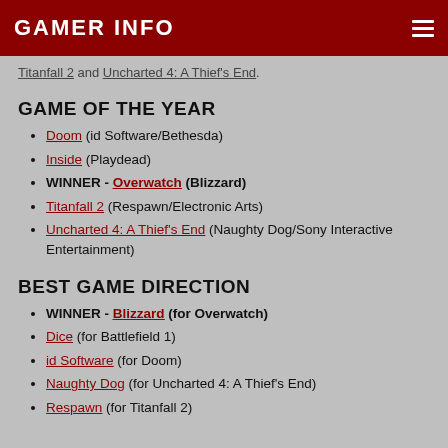GAMER INFO
Titanfall 2 and Uncharted 4: A Thief's End.
GAME OF THE YEAR
Doom (id Software/Bethesda)
Inside (Playdead)
WINNER - Overwatch (Blizzard)
Titanfall 2 (Respawn/Electronic Arts)
Uncharted 4: A Thief's End (Naughty Dog/Sony Interactive Entertainment)
BEST GAME DIRECTION
WINNER - Blizzard (for Overwatch)
Dice (for Battlefield 1)
id Software (for Doom)
Naughty Dog (for Uncharted 4: A Thief's End)
Respawn (for Titanfall 2)